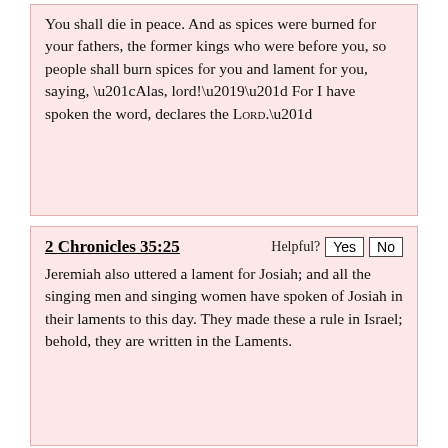You shall die in peace. And as spices were burned for your fathers, the former kings who were before you, so people shall burn spices for you and lament for you, saying, “Alas, lord!’” For I have spoken the word, declares the LORD.”
2 Chronicles 35:25
Jeremiah also uttered a lament for Josiah; and all the singing men and singing women have spoken of Josiah in their laments to this day. They made these a rule in Israel; behold, they are written in the Laments.
2 Chronicles 21:19-20